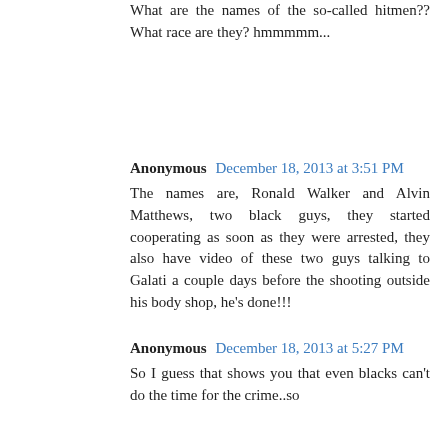What are the names of the so-called hitmen?? What race are they? hmmmmm...
Anonymous December 18, 2013 at 3:51 PM
The names are, Ronald Walker and Alvin Matthews, two black guys, they started cooperating as soon as they were arrested, they also have video of these two guys talking to Galati a couple days before the shooting outside his body shop, he's done!!!
Anonymous December 18, 2013 at 5:27 PM
So I guess that shows you that even blacks can't do the time for the crime..so